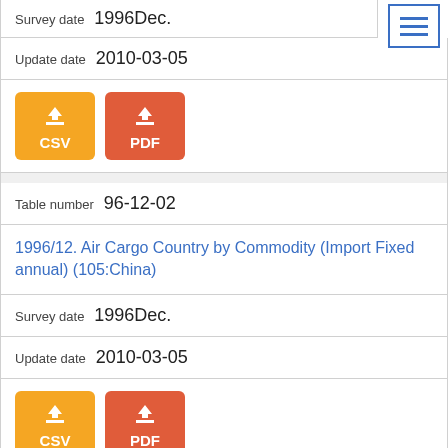Survey date  1996Dec.
Update date  2010-03-05
[Figure (other): CSV and PDF download buttons]
Table number 96-12-02
1996/12. Air Cargo Country by Commodity (Import Fixed annual) (105:China)
Survey date  1996Dec.
Update date  2010-03-05
[Figure (other): CSV and PDF download buttons]
Table number 96-12-03
1996/12. Air Cargo Country by Commodity (Import Fixed